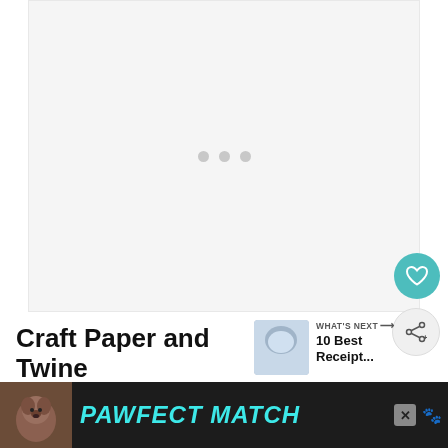[Figure (other): Image loading placeholder with three grey dots centered in a light grey rectangular area]
Craft Paper and Twine
[Figure (other): What's Next panel showing a small thumbnail image with text '10 Best Receipt...' and a WHAT'S NEXT arrow label]
Craft paper is a sturdy and affordable option fo...
[Figure (other): Advertisement banner: PAWFECT MATCH with a dog image on dark background]